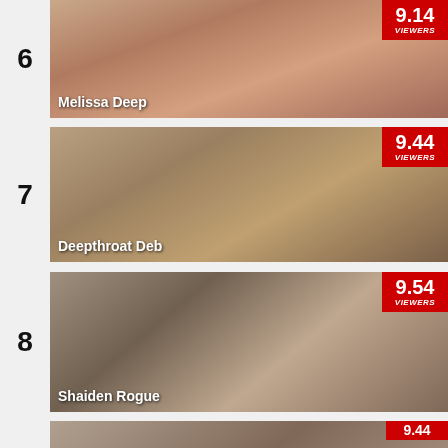[Figure (screenshot): Ranked thumbnail listing item #6: Melissa Deep with 9.14 viewers badge]
[Figure (screenshot): Ranked thumbnail listing item #7: Deepthroat Deb with 9.44 viewers badge]
[Figure (screenshot): Ranked thumbnail listing item #8: Shaiden Rogue with 9.54 viewers badge]
[Figure (screenshot): Partial ranked thumbnail listing item (bottom, cut off) with 9.44 viewers badge]